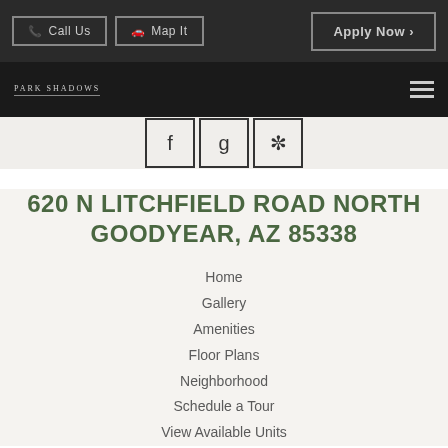Call Us   Map It   Apply Now
Park Shadows
[Figure (other): Three icon buttons with symbols: facebook-like, google-like, and snowflake/asterisk icon]
620 N LITCHFIELD ROAD NORTH GOODYEAR, AZ 85338
Home
Gallery
Amenities
Floor Plans
Neighborhood
Schedule a Tour
View Available Units